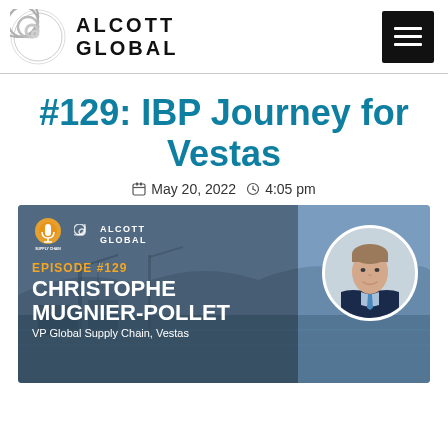[Figure (logo): Alcott Global logo with spiral icon and 'ALCOTT GLOBAL' text, plus hamburger menu icon on the right]
#129: IBP Journey for Vestas
May 20, 2022   4:05 pm
[Figure (illustration): Episode card showing podcast logo and Alcott Global logo at top left, 'EPISODE #129' in orange, 'CHRISTOPHE MUGNIER-POLLET' in bold white, 'VP Global Supply Chain, Vestas' subtitle, and circular portrait photo of guest on the right, against a port/harbor background image]